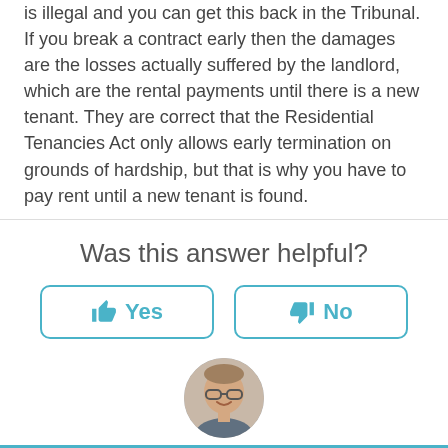is illegal and you can get this back in the Tribunal. If you break a contract early then the damages are the losses actually suffered by the landlord, which are the rental payments until there is a new tenant. They are correct that the Residential Tenancies Act only allows early termination on grounds of hardship, but that is why you have to pay rent until a new tenant is found.
Was this answer helpful?
[Figure (infographic): Two buttons: thumbs up Yes and thumbs down No, styled with teal border]
[Figure (photo): Circular profile photo of Chris The Lawyer, a middle-aged man with glasses]
★★★★★
Chris The Lawyer, Lawyer